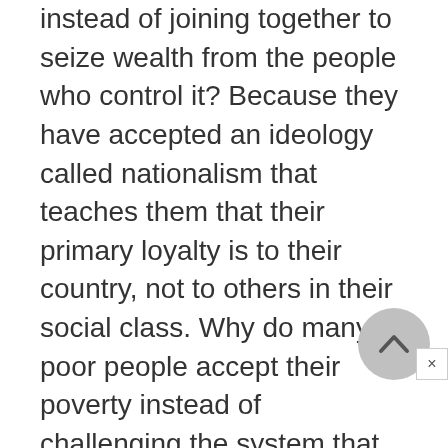instead of joining together to seize wealth from the people who control it? Because they have accepted an ideology called nationalism that teaches them that their primary loyalty is to their country, not to others in their social class. Why do many poor people accept their poverty instead of challenging the system that keeps them poor? Because they have accepted another ideology—religion—that teaches them that God is in control, and that their reward will come